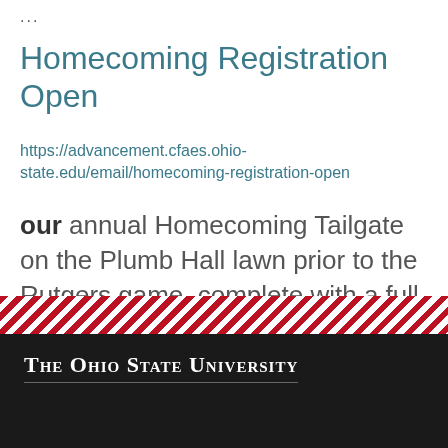...
Homecoming Registration Open
https://advancement.cfaes.ohio-state.edu/email/homecoming-registration-open
our annual Homecoming Tailgate on the Plumb Hall lawn prior to the Rutgers game, complete with a full ...
1 2 3 4 5 6 7 8 9 …next › last »
The Ohio State University